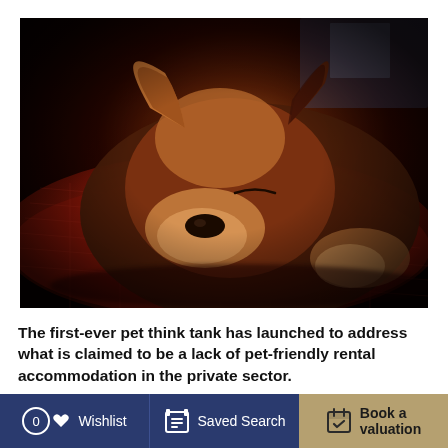[Figure (photo): A Corgi dog sleeping on a red knitted cushion/blanket, close-up photo with dark moody lighting]
The first-ever pet think tank has launched to address what is claimed to be a lack of pet-friendly rental accommodation in the private sector.
The think tank was formed by online lodging platform SpareRoom in a bid to generate new ideas and policies
0 Wishlist   Saved Search   Book a valuation